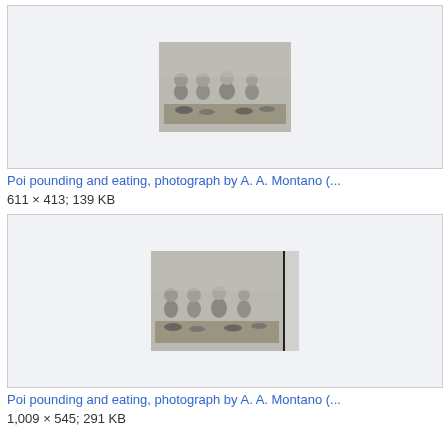[Figure (photo): Black and white photograph showing four people sitting cross-legged on a mat with bowls in front of them, poi pounding and eating scene, by A. A. Montano]
Poi pounding and eating, photograph by A. A. Montano (...
611 × 413; 139 KB
[Figure (photo): Black and white photograph showing four people sitting cross-legged on a mat with bowls in front of them, similar poi pounding and eating scene by A. A. Montano, with a vertical black line on the right side]
Poi pounding and eating, photograph by A. A. Montano (...
1,009 × 545; 291 KB